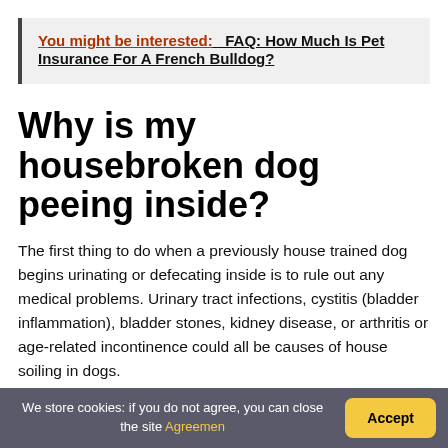You might be interested: FAQ: How Much Is Pet Insurance For A French Bulldog?
Why is my housebroken dog peeing inside?
The first thing to do when a previously house trained dog begins urinating or defecating inside is to rule out any medical problems. Urinary tract infections, cystitis (bladder inflammation), bladder stones, kidney disease, or arthritis or age-related incontinence could all be causes of house soiling in dogs.
We store cookies: if you do not agree, you can close the site Agreemen